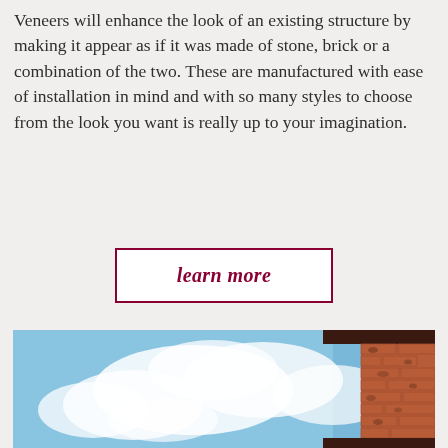Veneers will enhance the look of an existing structure by making it appear as if it was made of stone, brick or a combination of the two. These are manufactured with ease of installation in mind and with so many styles to choose from the look you want is really up to your imagination.
learn more
[Figure (photo): Photograph showing a blue sky with white clouds and the corner of a brick building with dark roof trim visible on the right side.]